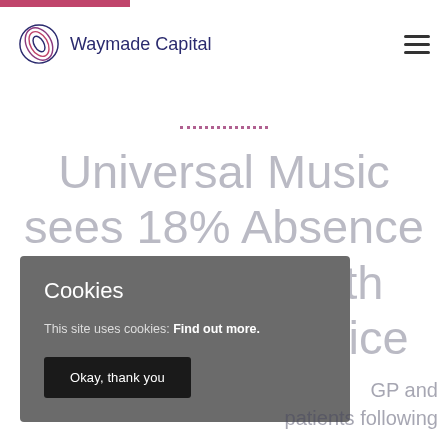[Figure (logo): Waymade Capital logo with circular swirl icon and text]
Waymade Capital
Universal Music sees 18% Absence Reduction With Video GP Service
Cookies

This site uses cookies: Find out more.

Okay, thank you
GP and patients following